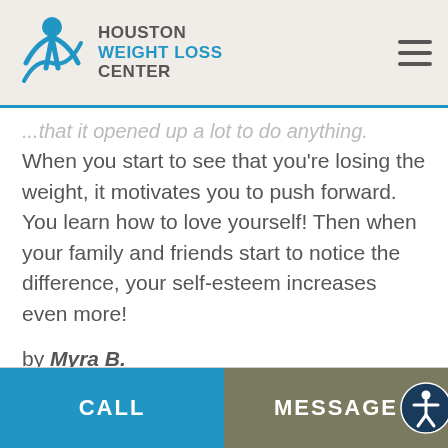HOUSTON WEIGHT LOSS CENTER
...to do anything. When you start to see that you're losing the weight, it motivates you to push forward. You learn how to love yourself! Then when your family and friends start to notice the difference, your self-esteem increases even more!
by Myra B.
RESULTS MAY VARY
*Individual Results May Vary
CALL  MESSAGE